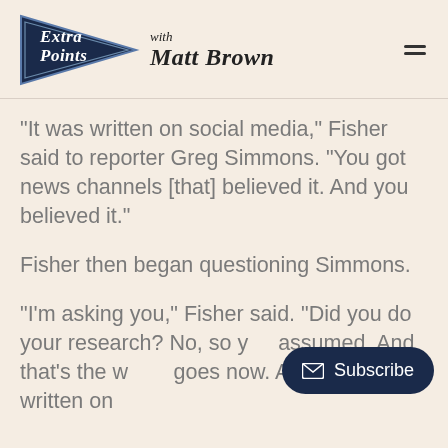Extra Points with Matt Brown
"It was written on social media," Fisher said to reporter Greg Simmons. "You got news channels [that] believed it. And you believed it."
Fisher then began questioning Simmons.
"I'm asking you," Fisher said. "Did you do your research? No, so you assumed. And that's the way it goes now. As soon as it's written on